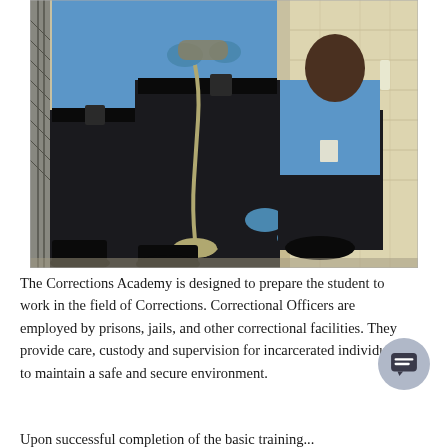[Figure (photo): Correctional officers in blue shirts and black pants applying leg shackles/chains to a person. Two officers are standing, one is kneeling applying the restraints. They are wearing blue latex gloves. The setting is a correctional facility hallway with beige/cream block walls and a security gate visible on the left.]
The Corrections Academy is designed to prepare the student to work in the field of Corrections. Correctional Officers are employed by prisons, jails, and other correctional facilities. They provide care, custody and supervision for incarcerated individuals to maintain a safe and secure environment.
Upon successful completion of the basic training...